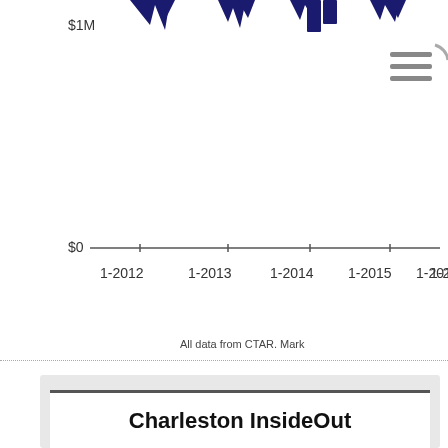[Figure (continuous-plot): Partial view of a line/area chart showing data from 1-2012 to 1-2016+, with y-axis labels $1M and $0, and dark navy colored peaks/bars visible at the top. A hamburger menu icon appears in the top right. X-axis tick labels: 1-2012, 1-2013, 1-2014, 1-2015, 1-2016, 1-2(cut off).]
All data from CTAR. Mark
Charleston InsideOut